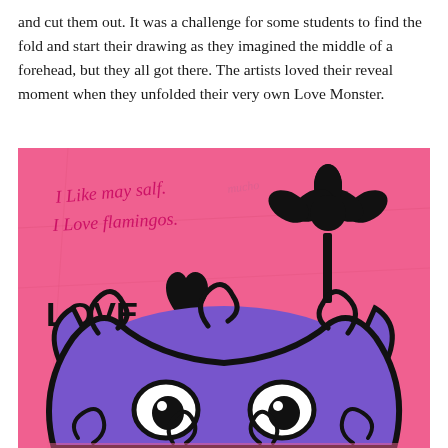and cut them out. It was a challenge for some students to find the fold and start their drawing as they imagined the middle of a forehead, but they all got there. The artists loved their reveal moment when they unfolded their very own Love Monster.
[Figure (photo): A child's artwork on pink paper showing a purple Love Monster character with black outlines, large white eyes, a heart, a flower, and handwritten text reading 'I Like may salf. I Love flamingos. LOVE']